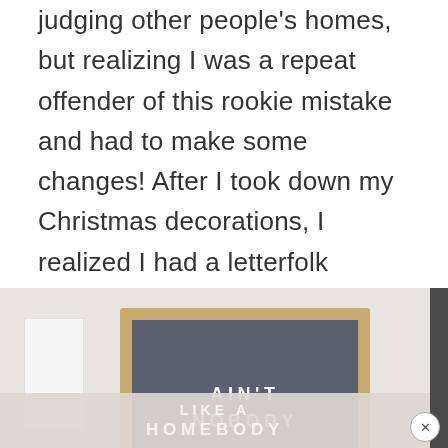judging other people's homes, but realizing I was a repeat offender of this rookie mistake and had to make some changes! After I took down my Christmas decorations, I realized I had a letterfolk board, a quote framed on my built-ins, and another quote displayed on a book that lay on the side table.
[Figure (photo): Photo of a letterboard with wooden frame on a light gray background. The gray felt letterboard displays the text 'AIN'T NOBODY' in white capital letters, with 'LIKE A' and 'HOMEBODY' partially visible at the bottom. White panels are visible on the left side of the image. A dark vertical bar appears on the far right edge. A close/dismiss button (circle with X) appears in the lower right corner.]